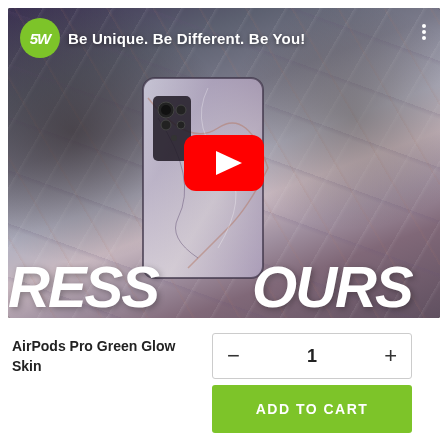[Figure (screenshot): YouTube video thumbnail showing a smartphone with marble skin being held up. The video player shows a play button overlay. The channel logo is a green circle with SW initials. Text overlay reads 'Be Unique. Be Different. Be You!' at top. Large bold italic text at bottom reads 'RESS [YouTube play button] OURS'.]
AirPods Pro Green Glow Skin
- 1 +
ADD TO CART